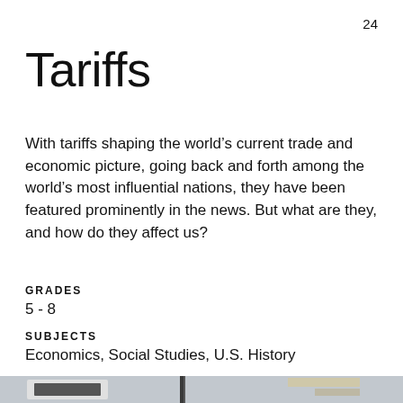24
Tariffs
With tariffs shaping the world’s current trade and economic picture, going back and forth among the world’s most influential nations, they have been featured prominently in the news. But what are they, and how do they affect us?
GRADES
5 - 8
SUBJECTS
Economics, Social Studies, U.S. History
[Figure (photo): A photo showing a store or display area interior, partially visible at the bottom of the page.]